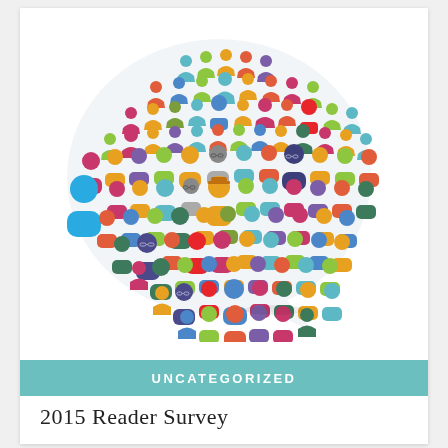[Figure (illustration): A speech bubble shape formed by a large crowd of colorful person/user icons in various colors including blue, green, red, orange, pink, purple, teal, and yellow, arranged to form a circular speech bubble with a small tail at the bottom right.]
UNCATEGORIZED
2015 Reader Survey